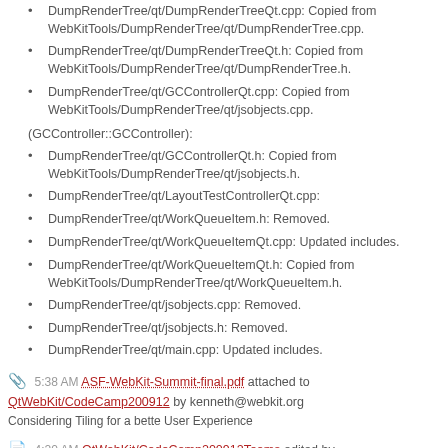DumpRenderTree/qt/DumpRenderTreeQt.cpp: Copied from WebKitTools/DumpRenderTree/qt/DumpRenderTree.cpp.
DumpRenderTree/qt/DumpRenderTreeQt.h: Copied from WebKitTools/DumpRenderTree/qt/DumpRenderTree.h.
DumpRenderTree/qt/GCControllerQt.cpp: Copied from WebKitTools/DumpRenderTree/qt/jsobjects.cpp.
(GCController::GCController):
DumpRenderTree/qt/GCControllerQt.h: Copied from WebKitTools/DumpRenderTree/qt/jsobjects.h.
DumpRenderTree/qt/LayoutTestControllerQt.cpp:
DumpRenderTree/qt/WorkQueueItem.h: Removed.
DumpRenderTree/qt/WorkQueueItemQt.cpp: Updated includes.
DumpRenderTree/qt/WorkQueueItemQt.h: Copied from WebKitTools/DumpRenderTree/qt/WorkQueueItem.h.
DumpRenderTree/qt/jsobjects.cpp: Removed.
DumpRenderTree/qt/jsobjects.h: Removed.
DumpRenderTree/qt/main.cpp: Updated includes.
5:38 AM ASF-WebKit-Summit-final.pdf attached to QtWebKit/CodeCamp200912 by kenneth@webkit.org
Considering Tiling for a bette User Experience
4:20 AM QtWebKit/CodeCamp200912Teams edited by benjamin.poulain@nokia.com
(diff)
4:14 AM QtWebKit/CodeCamp200912 edited by